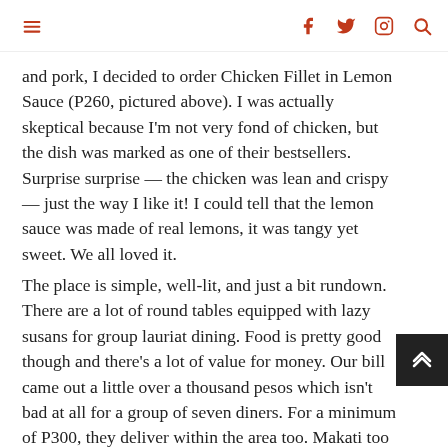≡  f  t  ☷  🔍
and pork, I decided to order Chicken Fillet in Lemon Sauce (P260, pictured above). I was actually skeptical because I'm not very fond of chicken, but the dish was marked as one of their bestsellers. Surprise surprise — the chicken was lean and crispy — just the way I like it! I could tell that the lemon sauce was made of real lemons, it was tangy yet sweet. We all loved it.
The place is simple, well-lit, and just a bit rundown. There are a lot of round tables equipped with lazy susans for group lauriat dining. Food is pretty good though and there's a lot of value for money. Our bill came out a little over a thousand pesos which isn't bad at all for a group of seven diners. For a minimum of P300, they deliver within the area too. Makati too far? Check out their branch at SM Megamall's Megastrip.
Lutong Macau